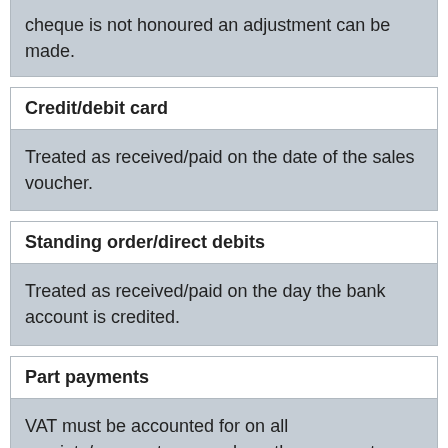cheque is not honoured an adjustment can be made.
Credit/debit card
Treated as received/paid on the date of the sales voucher.
Standing order/direct debits
Treated as received/paid on the day the bank account is credited.
Part payments
VAT must be accounted for on all receipts/payments even where they are part payments. Part payments are allocated to invoices in date order (earliest first)